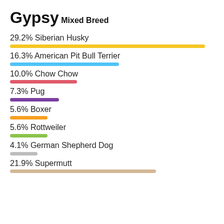Gypsy
Mixed Breed
[Figure (bar-chart): Gypsy Mixed Breed DNA breakdown]